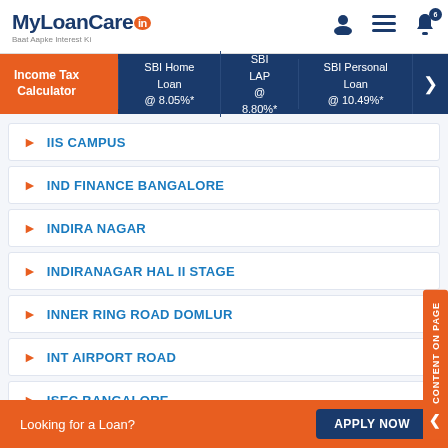[Figure (logo): MyLoanCare.in logo with tagline Baat Aapke Interest Ki]
Income Tax Calculator
SBI Home Loan @ 8.05%*
SBI LAP @ 8.80%*
SBI Personal Loan @ 10.49%*
IIS CAMPUS
IND FINANCE BANGALORE
INDIRA NAGAR
INDIRANAGAR HAL II STAGE
INNER RING ROAD DOMLUR
INT AIRPORT ROAD
ISEC BANGALORE
Looking for a Loan?
APPLY NOW